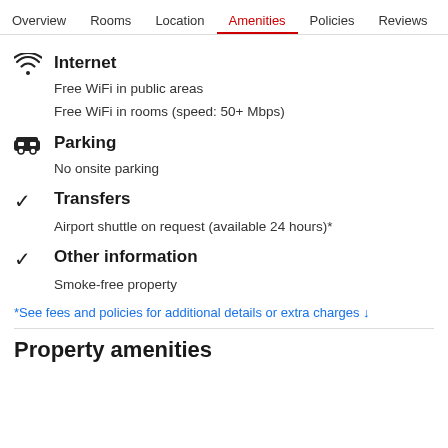Overview | Rooms | Location | Amenities | Policies | Reviews
Internet
Free WiFi in public areas
Free WiFi in rooms (speed: 50+ Mbps)
Parking
No onsite parking
Transfers
Airport shuttle on request (available 24 hours)*
Other information
Smoke-free property
*See fees and policies for additional details or extra charges ↓
Property amenities